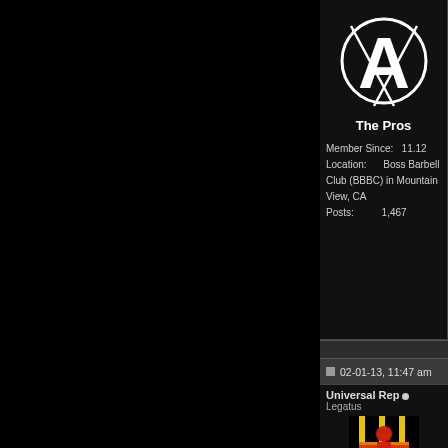[Figure (logo): White anarchist-style A logo in a circle, on black background]
The Pros
Member Since:    11.12
Location:         Boss Barbell Club (BBBC) in Mountain View, CA
Posts:               1,467
Dan "Boss" Green
WR 2099 raw total @22
WR 2083 raw total @24
WR 2210 raw w/wraps

Boss Barbell Club

Always Unreasonable

Questions. Answers. P
02-01-13, 11:47 am
Universal Rep
Legatus
[Figure (photo): Muscular figure silhouette in red and yellow against black vertical bars background]
Rep
Originally
Thanks guys.
Lookin forward to se